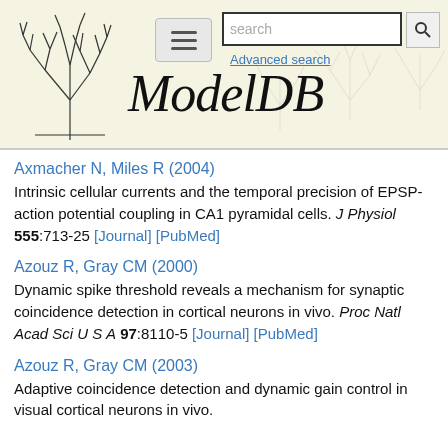[Figure (screenshot): ModelDB website header banner with neural tree illustration on left, hamburger menu button, search box, ModelDB italic logo text, and Advanced search link]
Axmacher N, Miles R (2004)
Intrinsic cellular currents and the temporal precision of EPSP-action potential coupling in CA1 pyramidal cells. J Physiol 555:713-25 [Journal] [PubMed]
Azouz R, Gray CM (2000)
Dynamic spike threshold reveals a mechanism for synaptic coincidence detection in cortical neurons in vivo. Proc Natl Acad Sci U S A 97:8110-5 [Journal] [PubMed]
Azouz R, Gray CM (2003)
Adaptive coincidence detection and dynamic gain control in visual cortical neurons in vivo.